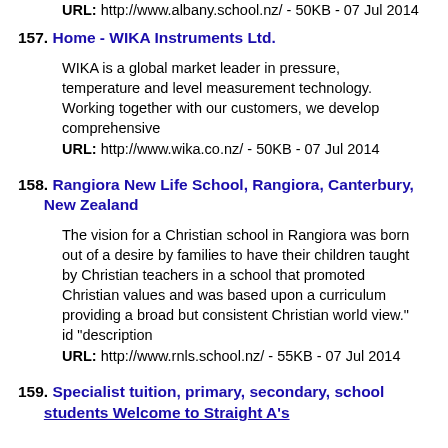URL: http://www.albany.school.nz/ - 50KB - 07 Jul 2014
157. Home - WIKA Instruments Ltd.
WIKA is a global market leader in pressure, temperature and level measurement technology. Working together with our customers, we develop comprehensive
URL: http://www.wika.co.nz/ - 50KB - 07 Jul 2014
158. Rangiora New Life School, Rangiora, Canterbury, New Zealand
The vision for a Christian school in Rangiora was born out of a desire by families to have their children taught by Christian teachers in a school that promoted Christian values and was based upon a curriculum providing a broad but consistent Christian world view." id "description
URL: http://www.rnls.school.nz/ - 55KB - 07 Jul 2014
159. Specialist tuition, primary, secondary, school students Welcome to Straight A's